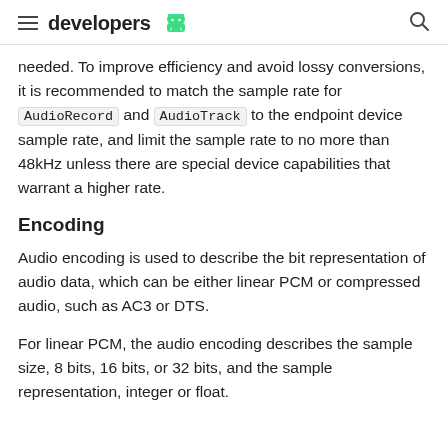developers
needed. To improve efficiency and avoid lossy conversions, it is recommended to match the sample rate for AudioRecord and AudioTrack to the endpoint device sample rate, and limit the sample rate to no more than 48kHz unless there are special device capabilities that warrant a higher rate.
Encoding
Audio encoding is used to describe the bit representation of audio data, which can be either linear PCM or compressed audio, such as AC3 or DTS.
For linear PCM, the audio encoding describes the sample size, 8 bits, 16 bits, or 32 bits, and the sample representation, integer or float.